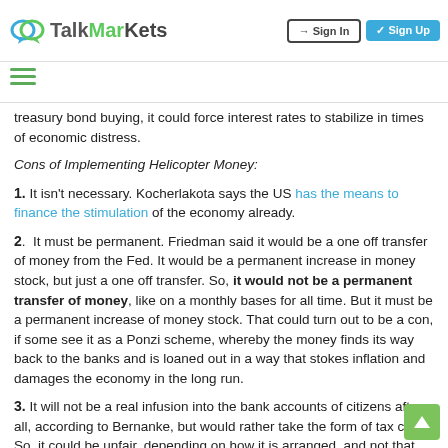TalkMarkets | Sign In | Sign Up
treasury bond buying, it could force interest rates to stabilize in times of economic distress.
Cons of Implementing Helicopter Money:
1. It isn't necessary. Kocherlakota says the US has the means to finance the stimulation of the economy already.
2. It must be permanent. Friedman said it would be a one off transfer of money from the Fed. It would be a permanent increase in money stock, but just a one off transfer. So, it would not be a permanent transfer of money, like on a monthly bases for all time. But it must be a permanent increase of money stock. That could turn out to be a con, if some see it as a Ponzi scheme, whereby the money finds its way back to the banks and is loaned out in a way that stokes inflation and damages the economy in the long run.
3. It will not be a real infusion into the bank accounts of citizens after all, according to Bernanke, but would rather take the form of tax cuts. So, it could be unfair, depending on how it is arranged, and not that effective. But tax cuts would be welcome and may be more comfortable than the more confusing the transfer. The end...